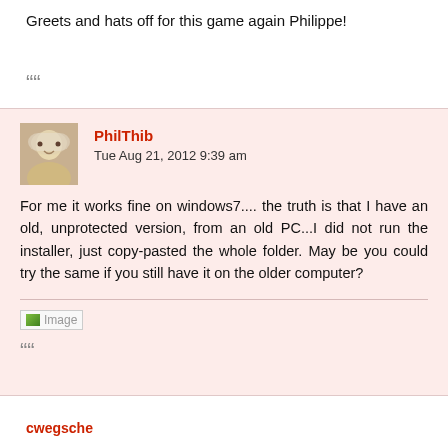Greets and hats off for this game again Philippe!
““
PhilThib
Tue Aug 21, 2012 9:39 am
For me it works fine on windows7.... the truth is that I have an old, unprotected version, from an old PC...I did not run the installer, just copy-pasted the whole folder. May be you could try the same if you still have it on the older computer?
[Figure (other): Image placeholder icon]
““
cwegsche